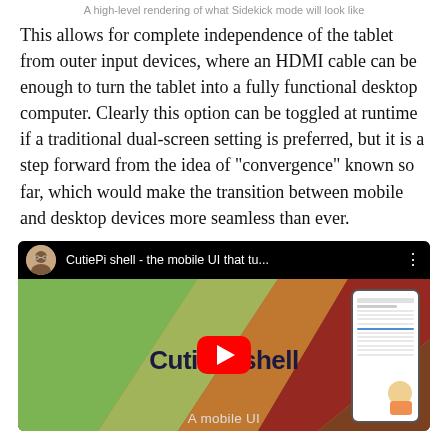A high-level rendering of what Sidekick mode will look like
This allows for complete independence of the tablet from outer input devices, where an HDMI cable can be enough to turn the tablet into a fully functional desktop computer. Clearly this option can be toggled at runtime if a traditional dual-screen setting is preferred, but it is a step forward from the idea of "convergence" known so far, which would make the transition between mobile and desktop devices more seamless than ever.
[Figure (screenshot): YouTube video thumbnail for 'CutiePi shell - the mobile UI that tu...' showing the CutiePi shell branding with a play button overlay, a mobile phone mockup on the right side, and 'A mobile UI' text at the bottom.]